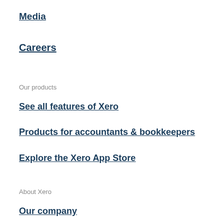Media
Careers
Our products
See all features of Xero
Products for accountants & bookkeepers
Explore the Xero App Store
About Xero
Our company
Our brands